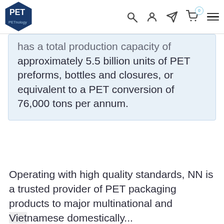PETnology logo and navigation bar
has a total production capacity of approximately 5.5 billion units of PET preforms, bottles and closures, or equivalent to a PET conversion of 76,000 tons per annum.
Operating with high quality standards, NN is a trusted provider of PET packaging products to major multinational and Vietnamese domestically...